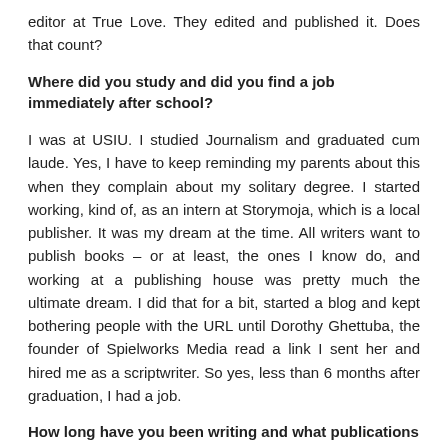editor at True Love. They edited and published it. Does that count?
Where did you study and did you find a job immediately after school?
I was at USIU. I studied Journalism and graduated cum laude. Yes, I have to keep reminding my parents about this when they complain about my solitary degree. I started working, kind of, as an intern at Storymoja, which is a local publisher. It was my dream at the time. All writers want to publish books – or at least, the ones I know do, and working at a publishing house was pretty much the ultimate dream. I did that for a bit, started a blog and kept bothering people with the URL until Dorothy Ghettuba, the founder of Spielworks Media read a link I sent her and hired me as a scriptwriter. So yes, less than 6 months after graduation, I had a job.
How long have you been writing and what publications have you written for?
Should I sound super smart and precocious and say since I was 5? It's true, I swear. You mean like GOOD writing? I don't even know. Let's just say since I knew how. My mom was a teacher before she retired. I had no choice in the matter, really.